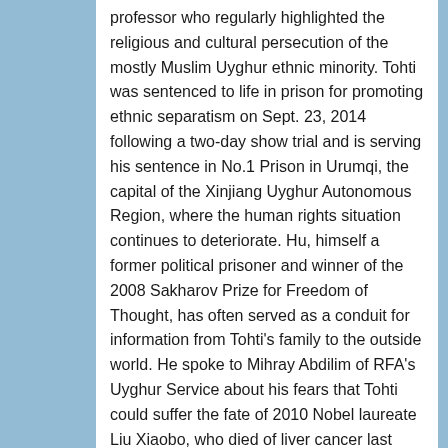professor who regularly highlighted the religious and cultural persecution of the mostly Muslim Uyghur ethnic minority. Tohti was sentenced to life in prison for promoting ethnic separatism on Sept. 23, 2014 following a two-day show trial and is serving his sentence in No.1 Prison in Urumqi, the capital of the Xinjiang Uyghur Autonomous Region, where the human rights situation continues to deteriorate. Hu, himself a former political prisoner and winner of the 2008 Sakharov Prize for Freedom of Thought, has often served as a conduit for information from Tohti's family to the outside world. He spoke to Mihray Abdilim of RFA's Uyghur Service about his fears that Tohti could suffer the fate of 2010 Nobel laureate Liu Xiaobo, who died of liver cancer last year in a Chinese prison, where his treatment was late and inadequate. For two years, Ilham hasn't seen his wife and children. The political situation in the Uyghur region is so terrible that his wife Guzelnur decided not to go back there this year. For a long time, the Chinese government has been implementing a policy called 'Serve Prison Sentence elsewhere' mainly targeting the high-profile political prisoners. Because Beijing is the political